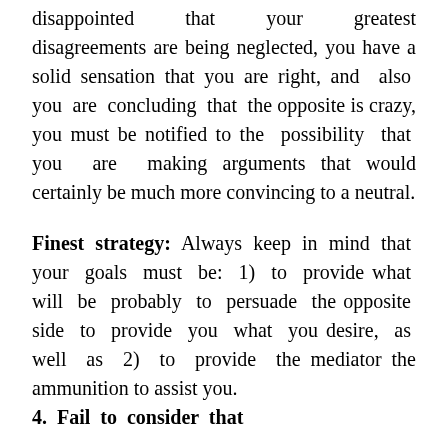disappointed that your greatest disagreements are being neglected, you have a solid sensation that you are right, and also you are concluding that the opposite is crazy, you must be notified to the possibility that you are making arguments that would certainly be much more convincing to a neutral.
Finest strategy: Always keep in mind that your goals must be: 1) to provide what will be probably to persuade the opposite side to provide you what you desire, as well as 2) to provide the mediator the ammunition to assist you.
4. Fail to consider that